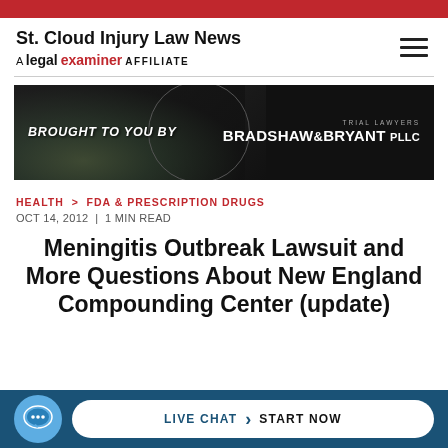St. Cloud Injury Law News — A legal examiner AFFILIATE
[Figure (photo): Sponsored banner: BROUGHT TO YOU BY BRADSHAW & BRYANT TRIAL LAWYERS PLLC, dark background with lake/nature imagery]
HEALTH > FDA & PRESCRIPTION DRUGS
OCT 14, 2012 | 1 MIN READ
Meningitis Outbreak Lawsuit and More Questions About New England Compounding Center (update)
[Figure (infographic): Live Chat bar: teal chat bubble icon, white pill-shaped button reading LIVE CHAT > START NOW on dark blue background]